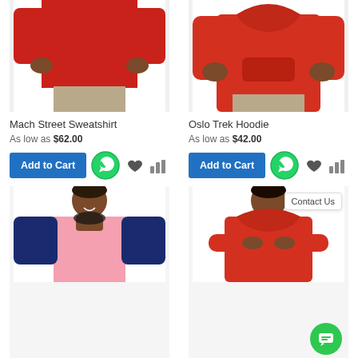[Figure (photo): Man wearing red long-sleeve sweatshirt, cropped at waist, white background]
Mach Street Sweatshirt
As low as $62.00
[Figure (screenshot): Add to Cart button with WhatsApp icon, heart icon, and bar chart icon]
[Figure (photo): Man wearing pink and navy raglan baseball tee, smiling, white background]
[Figure (photo): Man wearing red long-sleeve hoodie, arms crossed, white background]
Oslo Trek Hoodie
As low as $42.00
[Figure (screenshot): Add to Cart button with WhatsApp icon, heart icon, and bar chart icon]
Contact Us